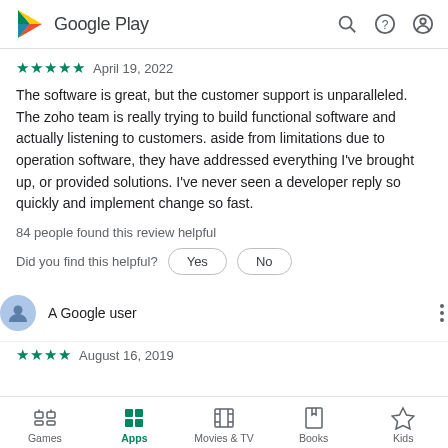Google Play
★★★★★  April 19, 2022
The software is great, but the customer support is unparalleled. The zoho team is really trying to build functional software and actually listening to customers. aside from limitations due to operation software, they have addressed everything I've brought up, or provided solutions. I've never seen a developer reply so quickly and implement change so fast.
84 people found this review helpful
Did you find this helpful? Yes  No
A Google user
★★★★  August 16, 2019
Games  Apps  Movies & TV  Books  Kids